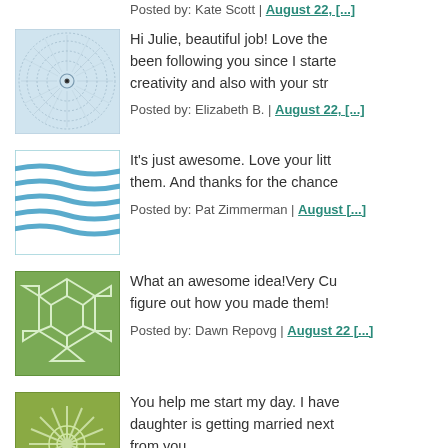Posted by: Kate Scott | August 22, [...]
[Figure (illustration): Avatar icon with circular geometric pattern on light blue background]
Hi Julie, beautiful job! Love the... been following you since I starte... creativity and also with your str...
Posted by: Elizabeth B. | August 22, [...]
[Figure (illustration): Avatar icon with blue wavy lines pattern on white background]
It's just awesome. Love your litt... them. And thanks for the chance...
Posted by: Pat Zimmerman | August [...]
[Figure (illustration): Avatar icon with green geometric polygon pattern]
What an awesome idea!Very Cu... figure out how you made them!
Posted by: Dawn Repovg | August 22 [...]
[Figure (illustration): Avatar icon with green starburst/flower pattern on olive background]
You help me start my day. I have... daughter is getting married next... from you.
Posted by: Carol | August 22, 2011 a[...]